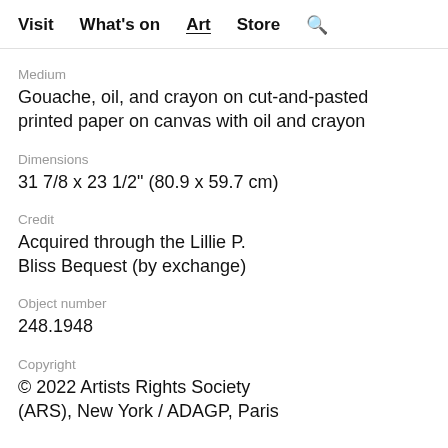Visit  What's on  Art  Store  🔍
Medium
Gouache, oil, and crayon on cut-and-pasted printed paper on canvas with oil and crayon
Dimensions
31 7/8 x 23 1/2" (80.9 x 59.7 cm)
Credit
Acquired through the Lillie P. Bliss Bequest (by exchange)
Object number
248.1948
Copyright
© 2022 Artists Rights Society (ARS), New York / ADAGP, Paris